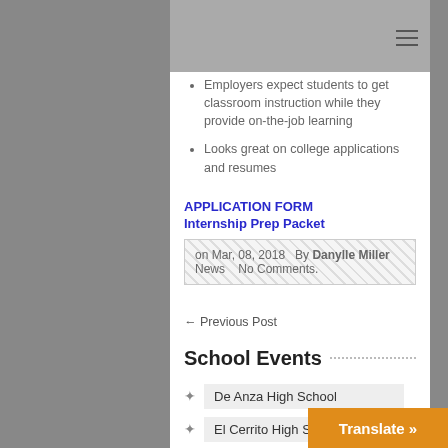Employers expect students to get classroom instruction while they provide on-the-job learning
Looks great on college applications and resumes
APPLICATION FORM
Internship Prep Packet
on Mar, 08, 2018  By Danylle Miller  News  No Comments.
← Previous Post
School Events
De Anza High School
El Cerrito High School